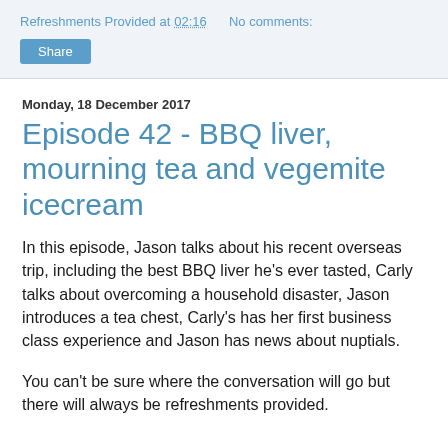Refreshments Provided at 02:16    No comments:
Share
Monday, 18 December 2017
Episode 42 - BBQ liver, mourning tea and vegemite icecream
In this episode, Jason talks about his recent overseas trip, including the best BBQ liver he's ever tasted, Carly talks about overcoming a household disaster, Jason introduces a tea chest, Carly's has her first business class experience and Jason has news about nuptials.
You can't be sure where the conversation will go but there will always be refreshments provided.